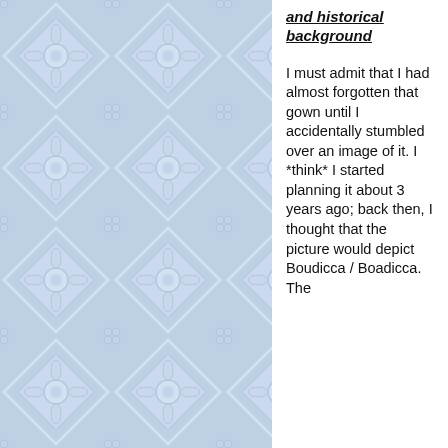[Figure (illustration): Blue decorative tile/mosaic pattern background on the left two-thirds of the page, with floral and geometric motifs in light blue and white.]
and historical background
I must admit that I had almost forgotten that gown until I accidentally stumbled over an image of it. I *think* I started planning it about 3 years ago; back then, I thought that the picture would depict Boudicca / Boadicca. The